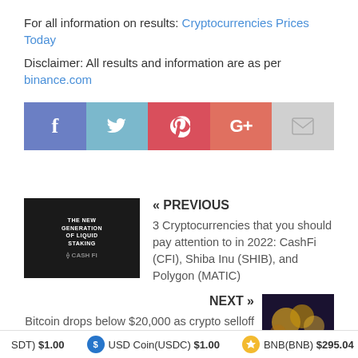For all information on results: Cryptocurrencies Prices Today
Disclaimer: All results and information are as per binance.com
[Figure (other): Social share buttons: Facebook, Twitter, Pinterest, Google+, Email]
« PREVIOUS
3 Cryptocurrencies that you should pay attention to in 2022: CashFi (CFI), Shiba Inu (SHIB), and Polygon (MATIC)
NEXT »
Bitcoin drops below $20,000 as crypto selloff quickens
SDT) $1.00   USD Coin(USDC) $1.00   BNB(BNB) $295.04